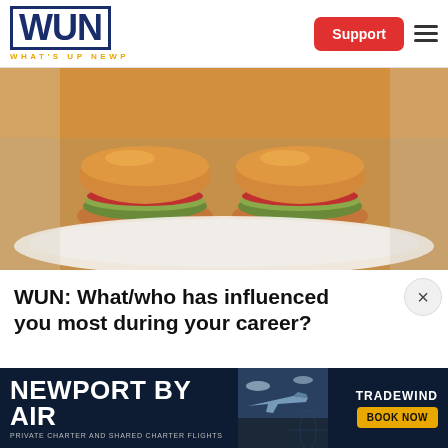[Figure (logo): WUN What's Up Newp logo with navy blue block letters and yellow subtitle text]
[Figure (photo): Close-up photo of food items — small burger sliders with melted cheese on a white plate]
WUN: What/who has influenced you most during your career?
[Figure (photo): Newport By Air advertisement banner — Tradewind Aviation private charter and shared charter flights with Book Now button]